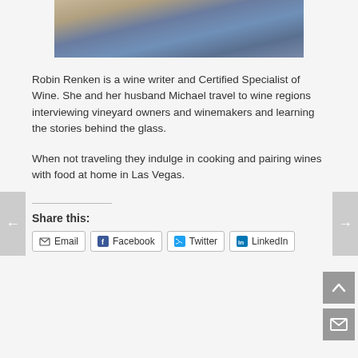[Figure (photo): Partial photo of a person in blue jeans seated on or near a wooden chair/bench, cropped to show mid-section and hands.]
Robin Renken is a wine writer and Certified Specialist of Wine. She and her husband Michael travel to wine regions interviewing vineyard owners and winemakers and learning the stories behind the glass.
When not traveling they indulge in cooking and pairing wines with food at home in Las Vegas.
Share this:
Email  Facebook  Twitter  LinkedIn